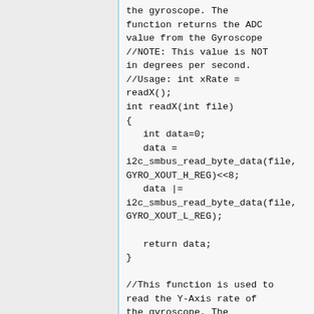the gyroscope. The function returns the ADC value from the Gyroscope //NOTE: This value is NOT in degrees per second. //Usage: int xRate = readX(); int readX(int file) {    int data=0;    data = i2c_smbus_read_byte_data(file, GYRO_XOUT_H_REG)<<8;    data |= i2c_smbus_read_byte_data(file, GYRO_XOUT_L_REG);    return data; } //This function is used to read the Y-Axis rate of the gyroscope. The function returns the ADC value from the Gyroscope